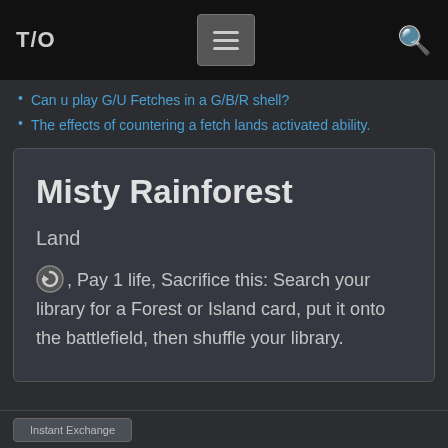T/O [menu] [search]
Can u play G/U Fetches in a G/B/R shell?
The effects of countering a fetch lands activated ability.
Misty Rainforest
Land
{T}, Pay 1 life, Sacrifice this: Search your library for a Forest or Island card, put it onto the battlefield, then shuffle your library.